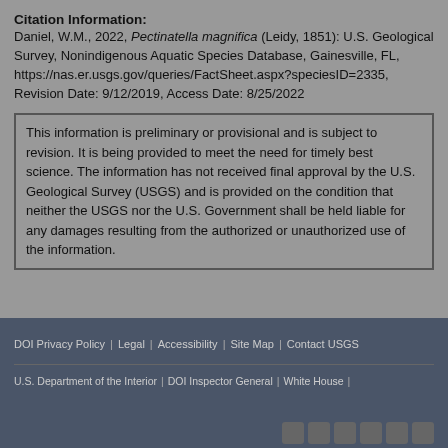Citation Information:
Daniel, W.M., 2022, Pectinatella magnifica (Leidy, 1851): U.S. Geological Survey, Nonindigenous Aquatic Species Database, Gainesville, FL, https://nas.er.usgs.gov/queries/FactSheet.aspx?speciesID=2335, Revision Date: 9/12/2019, Access Date: 8/25/2022
This information is preliminary or provisional and is subject to revision. It is being provided to meet the need for timely best science. The information has not received final approval by the U.S. Geological Survey (USGS) and is provided on the condition that neither the USGS nor the U.S. Government shall be held liable for any damages resulting from the authorized or unauthorized use of the information.
DOI Privacy Policy | Legal | Accessibility | Site Map | Contact USGS
U.S. Department of the Interior | DOI Inspector General | White House |